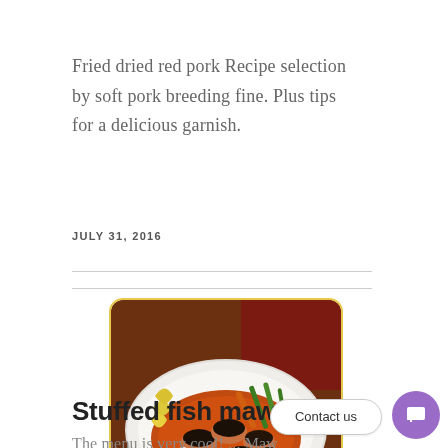Fried dried red pork Recipe selection by soft pork breeding fine. Plus tips for a delicious garnish.
JULY 31, 2016
[Figure (photo): A dish of stuffed fish maw served on a white plate with orange-red sauce, topped with dark mushrooms, accompanied by colorful vegetables including green beans, carrots, and yellow vegetables. The photo has a warm brown background and the plate is set on a dark wooden table.]
Stuffed fish maw
The menu is very cool! ... Maw